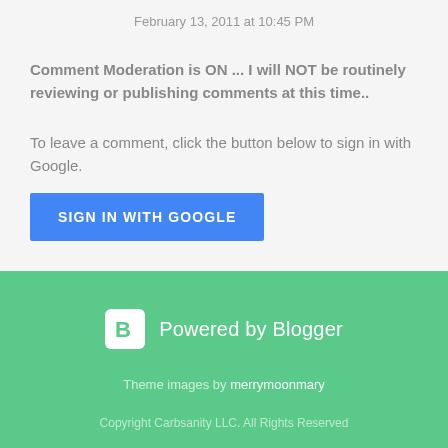February 13, 2011 at 10:45 PM
Comment Moderation is ON ... I will NOT be routinely reviewing or publishing comments at this time..
To leave a comment, click the button below to sign in with Google.
[Figure (other): SIGN IN WITH GOOGLE button (blue rectangle with white uppercase text)]
Powered by Blogger
Theme images by merrymoonmary
Copyright Carbsanity LLC. All Rights Reserved